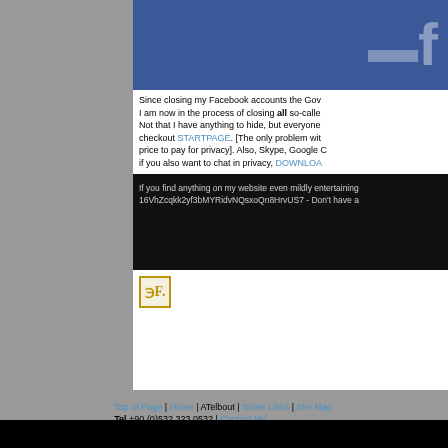[Figure (screenshot): Partial Facebook header with blue background and white logo elements, cropped]
Since closing my Facebook accounts the Gov... I am now in the process of closing all so-called... Not that I have anything to hide, but everyone... checkout STARTPAGE. [The only problem wit... price to pay for privacy]. Also, Skype, Google C... if you also want to chat in privacy, DOWNLOA...
If you find anything on my website even mildly entertaining... 16VhZcqkk2yf3bMYRidvNQsxoQn8HrvUS7 - Don't have a...
[Figure (logo): CF logo in gold border on cream background]
Top of Page | Home | ATelbout | Some Links | Site Map
Tel +90 (0)532 323 0532 | Contact Me
Copyright 1947-2018 Cliff Fraser - All Rights Reserved.